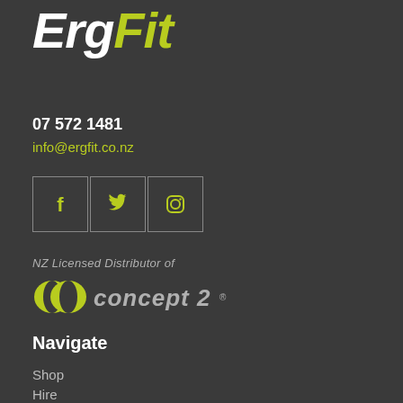[Figure (logo): ErgFit logo with 'Erg' in white bold italic and 'Fit' in yellow-green bold italic]
07 572 1481
info@ergfit.co.nz
[Figure (illustration): Three social media icon boxes: Facebook (f), Twitter (bird), Instagram (camera) outlined in dark grey borders with yellow-green icons]
[Figure (logo): NZ Licensed Distributor of Concept 2 logo - shows italic text above and the Concept 2 brand logo with double-circle mark]
Navigate
Shop
Hire